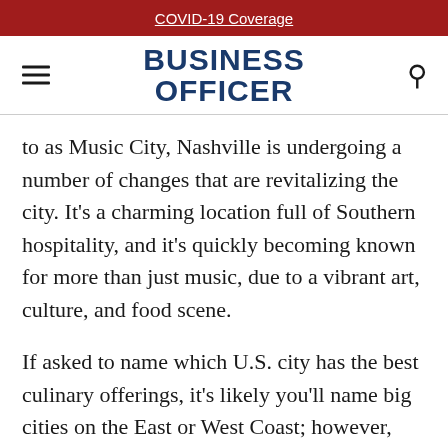COVID-19 Coverage
BUSINESS OFFICER
to as Music City, Nashville is undergoing a number of changes that are revitalizing the city. It’s a charming location full of Southern hospitality, and it’s quickly becoming known for more than just music, due to a vibrant art, culture, and food scene.
If asked to name which U.S. city has the best culinary offerings, it’s likely you’ll name big cities on the East or West Coast; however, more and more self-proclaimed “foodies” are